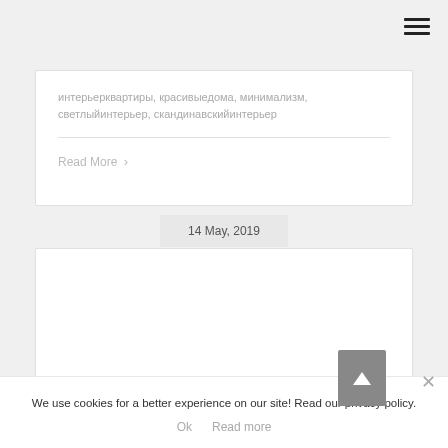[Figure (other): Hamburger menu icon (three horizontal lines) in top right corner]
интерьерквартиры, красивыедома, минимализм, светлыйинтерьер, скандинавскийинтерьер
Read More ›
14 May, 2019
We use cookies for a better experience on our site! Read our privacy policy.
Ok   Read more